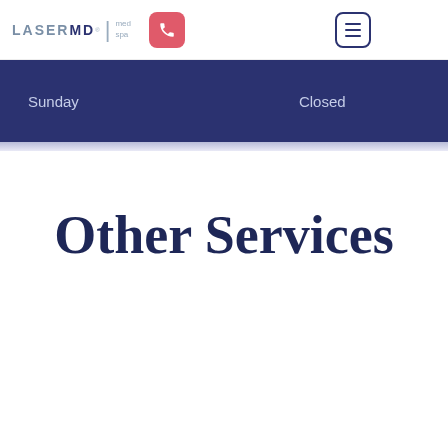[Figure (logo): Laser MD med spa logo with phone icon button and hamburger menu button]
Sunday
Closed
Other Services